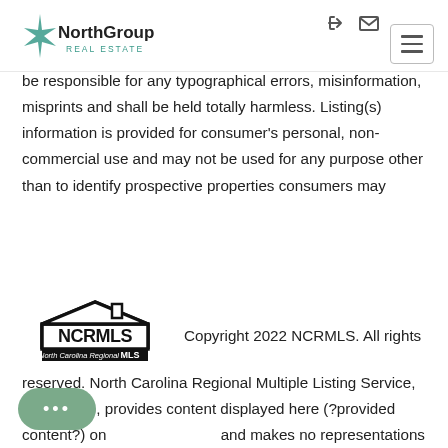NorthGroup Real Estate — navigation header
be responsible for any typographical errors, misinformation, misprints and shall be held totally harmless. Listing(s) information is provided for consumer's personal, non-commercial use and may not be used for any purpose other than to identify prospective properties consumers may
[Figure (logo): NCRMLS logo — house outline with NCRMLS text and 'North Carolina Regional MLS' tagline]
Copyright 2022 NCRMLS. All rights reserved. North Carolina Regional Multiple Listing Service, (NCRMLS), provides content displayed here (?provided content?) on and makes no representations or warranties regarding the provided content, including, but not limited to those of non-